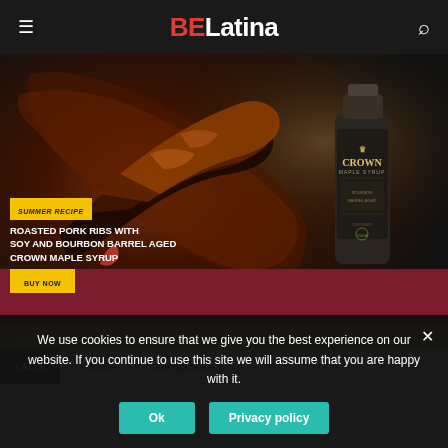BE Latina
[Figure (photo): Advertisement for Crown Maple Syrup featuring roasted pork ribs with soy and bourbon barrel aged Crown Maple Syrup. Yellow badge reads SUMMER RECIPE. Text: ROASTED PORK RIBS WITH SOY AND BOURBON BARREL AGED CROWN MAPLE SYRUP. BUY NOW button. Social links: https://crownmaple.store, @crownmaple (Instagram), @crownmaple (Facebook).]
TAGS  Politics  Unemployment
We use cookies to ensure that we give you the best experience on our website. If you continue to use this site we will assume that you are happy with it.
Ok  Privacy policy